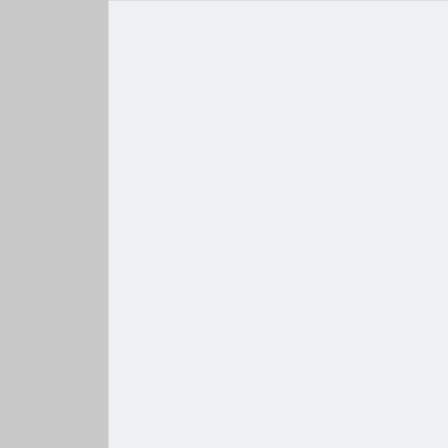live using live chat support. Live Chat Support
HostPoco.com
[US/France] Shared Hosting, Reseller Hosting Softaculous | Dedicated IP | SSL | Cloudflare Deals 50% Off
Reply With Quote
Bookmarks
Twitter
Facebook
StumbleUpon
del.icio.us
Posting Permissions
You may not post new threads
BB code is On
Smilies are On
You may not post replies
[IMG] code is Off
You may not